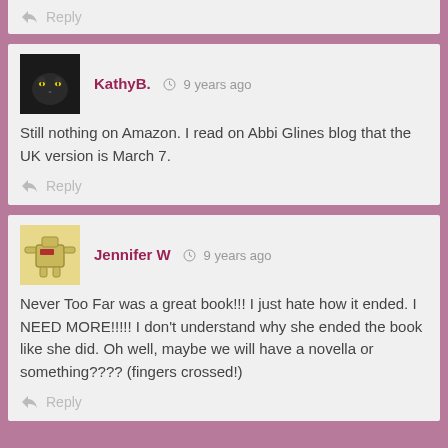↳ Reply
KathyB. 9 years ago
Still nothing on Amazon. I read on Abbi Glines blog that the UK version is March 7.
↳ Reply
Jennifer W 9 years ago
Never Too Far was a great book!!! I just hate how it ended. I NEED MORE!!!!! I don't understand why she ended the book like she did. Oh well, maybe we will have a novella or something???? (fingers crossed!)
↳ Reply